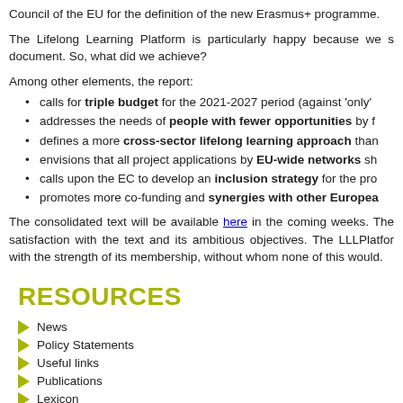Council of the EU for the definition of the new Erasmus+ programme.
The Lifelong Learning Platform is particularly happy because we s document. So, what did we achieve?
Among other elements, the report:
calls for triple budget for the 2021-2027 period (against 'only'
addresses the needs of people with fewer opportunities by f
defines a more cross-sector lifelong learning approach than
envisions that all project applications by EU-wide networks sh
calls upon the EC to develop an inclusion strategy for the pro
promotes more co-funding and synergies with other Europea
The consolidated text will be available here in the coming weeks. The satisfaction with the text and its ambitious objectives. The LLLPlatfor with the strength of its membership, without whom none of this would.
RESOURCES
News
Policy Statements
Useful links
Publications
Lexicon
Privacy policy